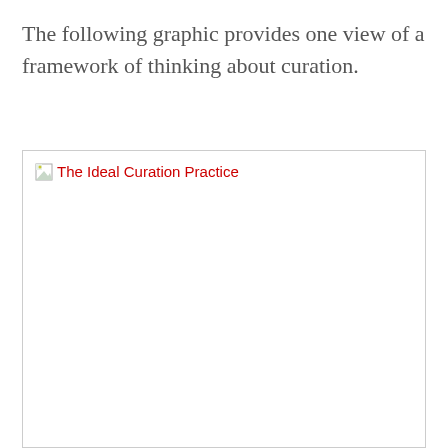The following graphic provides one view of a framework of thinking about curation.
[Figure (illustration): Broken image placeholder labeled 'The Ideal Curation Practice' — image failed to load, shown as browser broken-image icon with red alt text.]